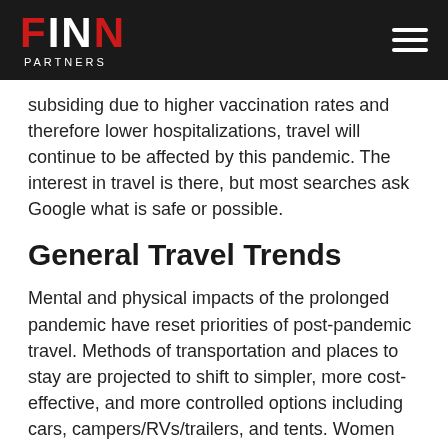FINN PARTNERS
subsiding due to higher vaccination rates and therefore lower hospitalizations, travel will continue to be affected by this pandemic. The interest in travel is there, but most searches ask Google what is safe or possible.
General Travel Trends
Mental and physical impacts of the prolonged pandemic have reset priorities of post-pandemic travel. Methods of transportation and places to stay are projected to shift to simpler, more cost-effective, and more controlled options including cars, campers/RVs/trailers, and tents. Women show a greater interest in traveling independently (due to larger trends away from groups and group